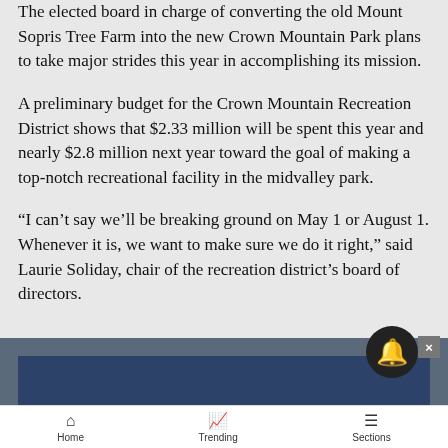The elected board in charge of converting the old Mount Sopris Tree Farm into the new Crown Mountain Park plans to take major strides this year in accomplishing its mission.
A preliminary budget for the Crown Mountain Recreation District shows that $2.33 million will be spent this year and nearly $2.8 million next year toward the goal of making a top-notch recreational facility in the midvalley park.
“I can’t say we’ll be breaking ground on May 1 or August 1. Whenever it is, we want to make sure we do it right,” said Laurie Soliday, chair of the recreation district’s board of directors.
[Figure (other): Dark blue and slate-gray banner/advertisement area at bottom of page]
Home   Trending   Sections